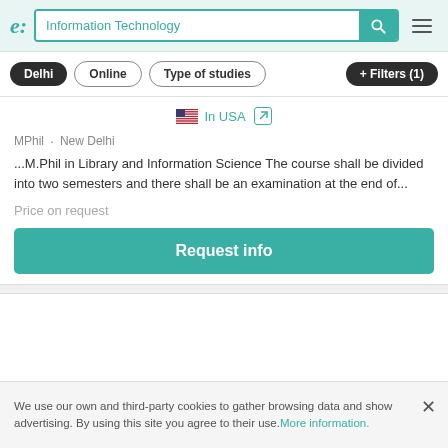[Figure (screenshot): Search bar with 'Information Technology' query, teal search button, hamburger menu, on light teal header background]
Delhi · Online · Type of studies · + Filters (1)
In USA
MPhil · New Delhi
...M.Phil in Library and Information Science The course shall be divided into two semesters and there shall be an examination at the end of...
Price on request
Request info
We use our own and third-party cookies to gather browsing data and show advertising. By using this site you agree to their use. More information.